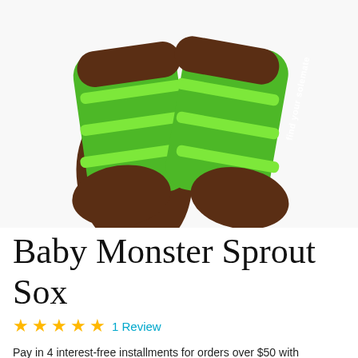[Figure (photo): Two baby socks, brown with green stripes, with text 'find your solemate' on one sock, displayed on white background]
Baby Monster Sprout Sox
★★★★★ 1 Review
Pay in 4 interest-free installments for orders over $50 with shop Pay Learn more
$ 22.00